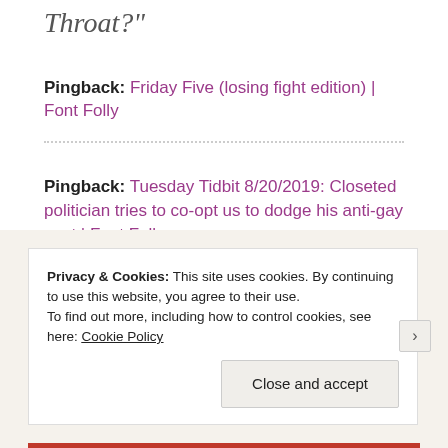Throat?"
Pingback: Friday Five (losing fight edition) | Font Folly
Pingback: Tuesday Tidbit 8/20/2019: Closeted politician tries to co-opt us to dodge his anti-gay past | Font Folly
Privacy & Cookies: This site uses cookies. By continuing to use this website, you agree to their use.
To find out more, including how to control cookies, see here: Cookie Policy
Close and accept